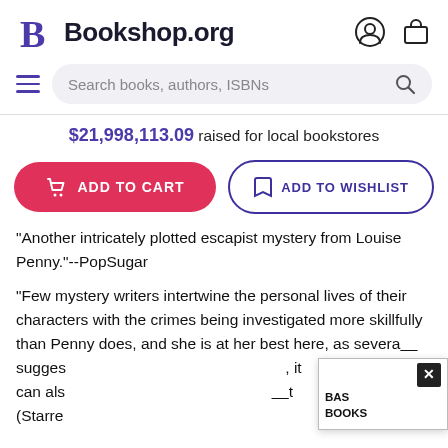Bookshop.org
Search books, authors, ISBNs
$21,998,113.09 raised for local bookstores
ADD TO CART
ADD TO WISHLIST
"Another intricately plotted escapist mystery from Louise Penny."--PopSugar
"Few mystery writers intertwine the personal lives of their characters with the crimes being investigated more skillfully than Penny does, and she is at her best here, as several___ suggests, it can also ___t (Starre
BAS
BOOKS